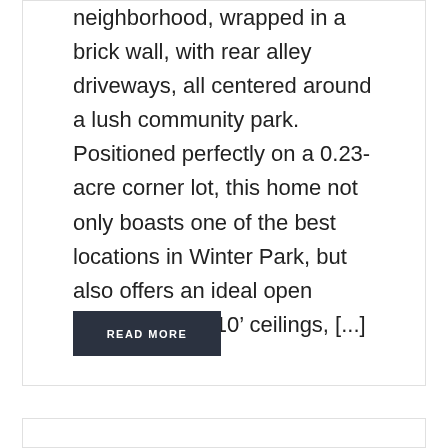neighborhood, wrapped in a brick wall, with rear alley driveways, all centered around a lush community park. Positioned perfectly on a 0.23-acre corner lot, this home not only boasts one of the best locations in Winter Park, but also offers an ideal open floorplan, with 10’ ceilings, [...]
READ MORE